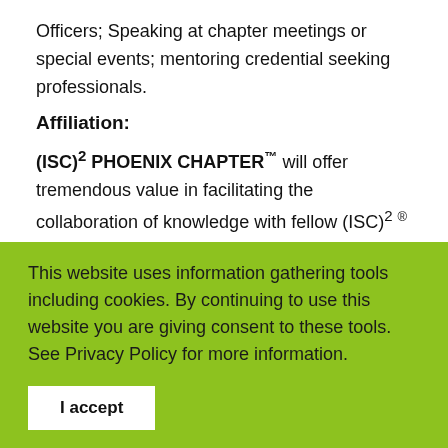Officers; Speaking at chapter meetings or special events; mentoring credential seeking professionals.
Affiliation:
(ISC)² PHOENIX CHAPTER™ will offer tremendous value in facilitating the collaboration of knowledge with fellow (ISC)² ® credential holders and other information security professionals, within local areas, enabling and empowering chapter members a sense of fellowship with colleagues and improvements in Information Security moving the
This website uses information gathering tools including cookies. By continuing to use this website you are giving consent to these tools. See Privacy Policy for more information.
I accept